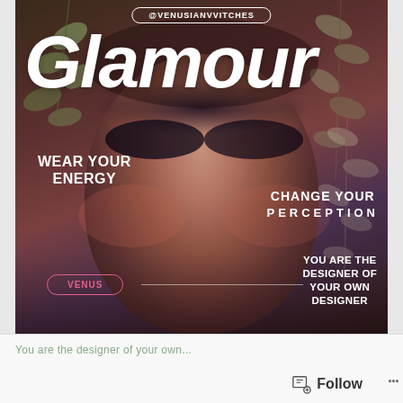[Figure (photo): Magazine-style cover featuring a woman with dramatic dark eye makeup and floral crown against a dark moody background with plant leaves. White bold italic 'Glamour' masthead at top. Multiple text overlays on the photo including '@VENUSIANVVITCHES', 'WEAR YOUR ENERGY', 'CHANGE YOUR PERCEPTION', 'VENUS', and 'YOU ARE THE DESIGNER OF YOUR OWN DESIGNER'.]
You are the designer of your own...
Follow
...